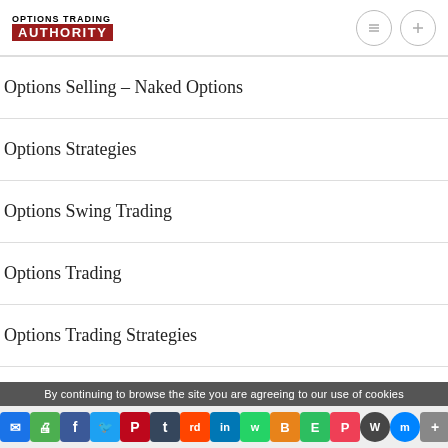OPTIONS TRADING AUTHORITY
Options Selling – Naked Options
Options Strategies
Options Swing Trading
Options Trading
Options Trading Strategies
Options Trend Trading
By continuing to browse the site you are agreeing to our use of cookies
Social sharing bar: Email, Print, Facebook, Twitter, Pinterest, Tumblr, Reddit, LinkedIn, WhatsApp, Blogger, Evernote, Pocket, WordPress, Messenger, More